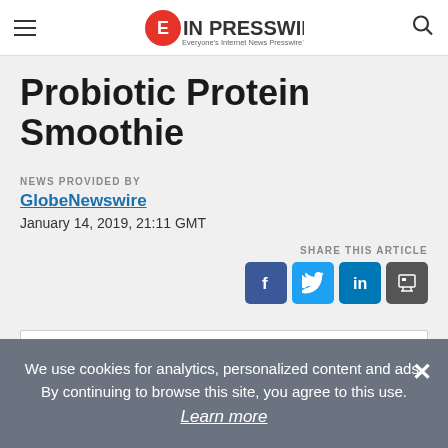EINPresswire — Everyone's Internet News Presswire
Probiotic Protein Smoothie
NEWS PROVIDED BY
GlobeNewswire
January 14, 2019, 21:11 GMT
SHARE THIS ARTICLE
We use cookies for analytics, personalized content and ads. By continuing to browse this site, you agree to this use. Learn more